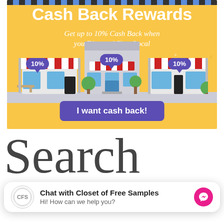[Figure (infographic): Cash Back Rewards advertisement banner with yellow background showing three illustrated storefronts each with a 10% speech bubble badge, and a purple 'I want cash back!' call-to-action button.]
Search
Chat with Closet of Free Samples
Hi! How can we help you?